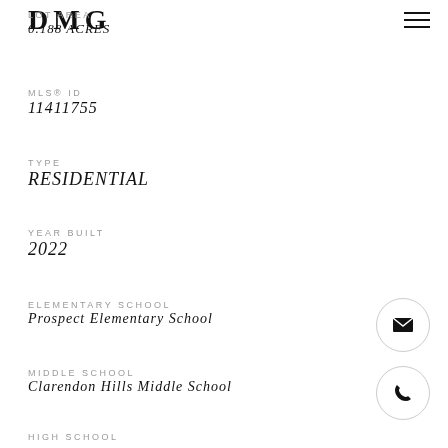DMG
LOT AREA
0.188 ACRES
MLS® ID
11411755
TYPE
RESIDENTIAL
YEAR BUILT
2022
ELEMENTARY SCHOOL
Prospect Elementary School
MIDDLE SCHOOL
Clarendon Hills Middle School
HIGH SCHOOL